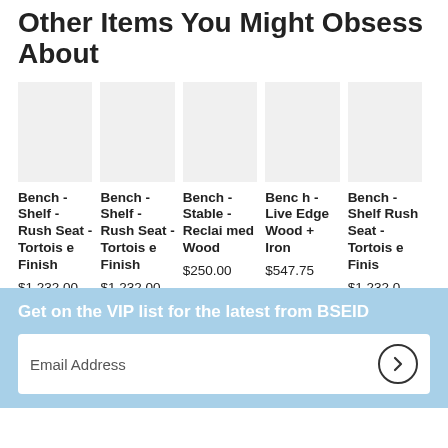Other Items You Might Obsess About
[Figure (other): Product listing row showing 5 bench products with images and prices]
Bench - Shelf - Rush Seat - Tortoise Finish $1,232.00
Bench - Shelf - Rush Seat - Tortoise Finish $1,232.00
Bench - Stable - Reclaimed Wood $250.00
Bench - Live Edge Wood + Iron $547.75
Bench - Shelf Rush Seat - Tortoise Finish $1,232.00
Get on the VIP list for the latest from BSEID
Email Address